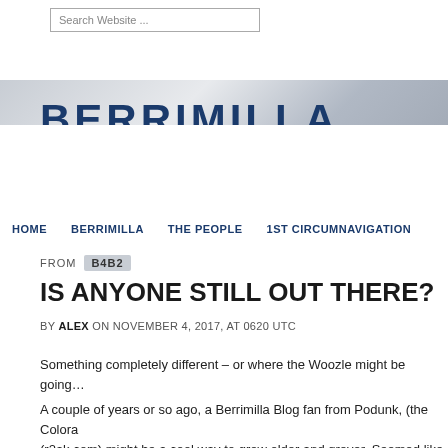Search Website ...
[Figure (logo): BERRIMILLA text logo on metallic gradient banner background]
HOME   BERRIMILLA   THE PEOPLE   1ST CIRCUMNAVIGATION
FROM B4B2
IS ANYONE STILL OUT THERE?
BY ALEX ON NOVEMBER 4, 2017, AT 0620 UTC
Something completely different – or where the Woozle might be going…
A couple of years or so ago, a Berrimilla Blog fan from Podunk, (the Colora (r2ak.com) might be a cool way to grow older and greyer. Seemed like a goo sailing boat in her Dad's workshop in Nome, which also seemed like the rig